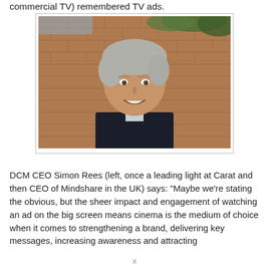commercial TV) remembered TV ads.
[Figure (photo): Portrait photo of a middle-aged man with grey hair, smiling, wearing a dark jacket and light shirt, standing in front of a brick wall with greenery visible at the top.]
DCM CEO Simon Rees (left, once a leading light at Carat and then CEO of Mindshare in the UK) says: “Maybe we’re stating the obvious, but the sheer impact and engagement of watching an ad on the big screen means cinema is the medium of choice when it comes to strengthening a brand, delivering key messages, increasing awareness and attracting